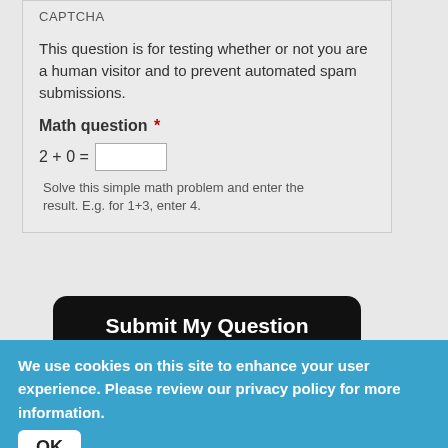CAPTCHA
This question is for testing whether or not you are a human visitor and to prevent automated spam submissions.
Math question *
2 + 0 =
Solve this simple math problem and enter the result. E.g. for 1+3, enter 4.
Submit My Question
[Figure (photo): Dark red/maroon abstract background image, partially visible]
We use cookies on this site to enhance your user experience. Please review our privacy policy for more information.
OK